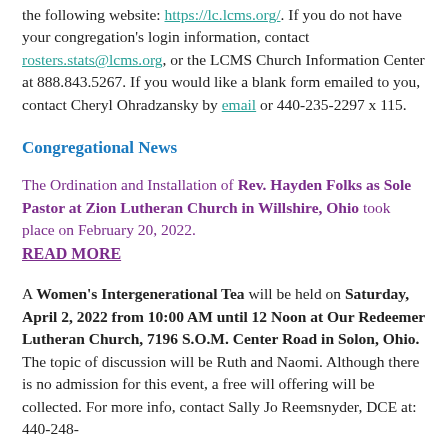the following website: https://lc.lcms.org/. If you do not have your congregation's login information, contact rosters.stats@lcms.org, or the LCMS Church Information Center at 888.843.5267. If you would like a blank form emailed to you, contact Cheryl Ohradzansky by email or 440-235-2297 x 115.
Congregational News
The Ordination and Installation of Rev. Hayden Folks as Sole Pastor at Zion Lutheran Church in Willshire, Ohio took place on February 20, 2022. READ MORE
A Women's Intergenerational Tea will be held on Saturday, April 2, 2022 from 10:00 AM until 12 Noon at Our Redeemer Lutheran Church, 7196 S.O.M. Center Road in Solon, Ohio. The topic of discussion will be Ruth and Naomi. Although there is no admission for this event, a free will offering will be collected. For more info, contact Sally Jo Reemsnyder, DCE at: 440-248-